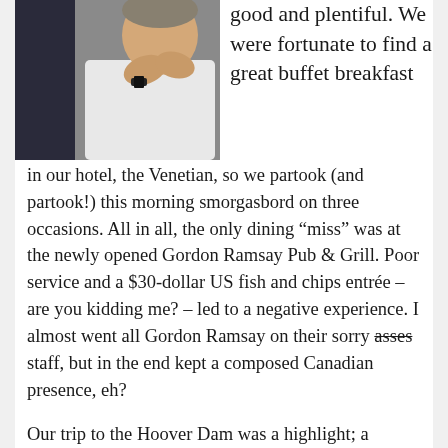[Figure (photo): A person in a white shirt with hands clasped near their face, photographed indoors.]
good and plentiful. We were fortunate to find a great buffet breakfast in our hotel, the Venetian, so we partook (and partook!) this morning smorgasbord on three occasions. All in all, the only dining “miss” was at the newly opened Gordon Ramsay Pub & Grill. Poor service and a $30-dollar US fish and chips entrée – are you kidding me? – led to a negative experience. I almost went all Gordon Ramsay on their sorry asses staff, but in the end kept a composed Canadian presence, eh?
Our trip to the Hoover Dam was a highlight; a 726-foot high engineering marvel with enough concrete to pave a 16-foot wide highway from San Francisco